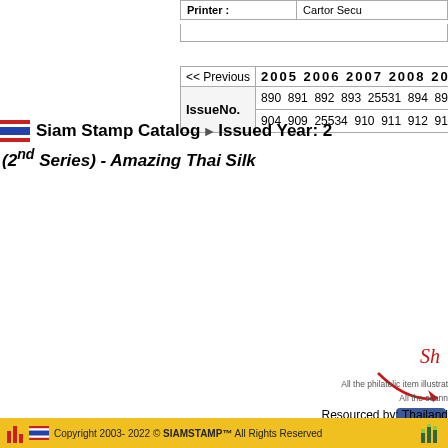| Printer : | Cartor Secu... |
| --- | --- |
| << Previous | 2005 | 2006 | 2007 | 2008 | 2009 |
| --- | --- | --- | --- | --- | --- |
| IssueNo. | 890 891 892 893 25531 894 89... | 904 909 25534 910 911 912 912... |
Siam Stamp Catalog > Issued Year: 2... (2nd Series) - Amazing Thai Silk
Sh...
All the philatelic item illustrat...
All the scann...
Resourced by: Thailand...
Copyright 2003- 2022 © SIAMSTAMP™ All Rights Reserved